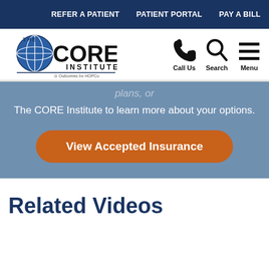REFER A PATIENT   PATIENT PORTAL   PAY A BILL
[Figure (logo): The CORE Institute logo with globe and 'Outcomes by HOPCo' tagline, plus Call Us phone icon, Search magnifier icon, and Menu hamburger icon]
plans, or
The CORE Institute to learn more about your options.
View Accepted Insurance
Related Videos